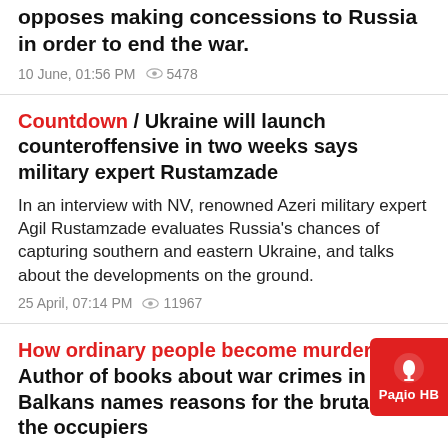British Ambassador to Ukraine Melinda Simmons opposes making concessions to Russia in order to end the war.
10 June, 01:56 PM  👁 5478
Countdown / Ukraine will launch counteroffensive in two weeks says military expert Rustamzade
In an interview with NV, renowned Azeri military expert Agil Rustamzade evaluates Russia's chances of capturing southern and eastern Ukraine, and talks about the developments on the ground.
25 April, 07:14 PM  👁 11967
How ordinary people become murderers / Author of books about war crimes in the Balkans names reasons for the brutality of the occupiers
Russia's war in Ukraine is the second war in Europe since the Yugoslav wars, and both conflicts share many similarities - not least in the preponderance of war crimes and atrocities committed by one side.